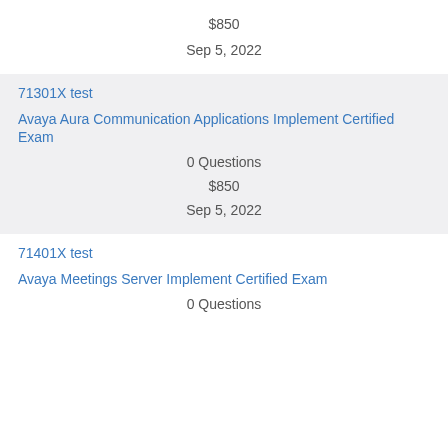$850
Sep 5, 2022
71301X test
Avaya Aura Communication Applications Implement Certified Exam
0 Questions
$850
Sep 5, 2022
71401X test
Avaya Meetings Server Implement Certified Exam
0 Questions